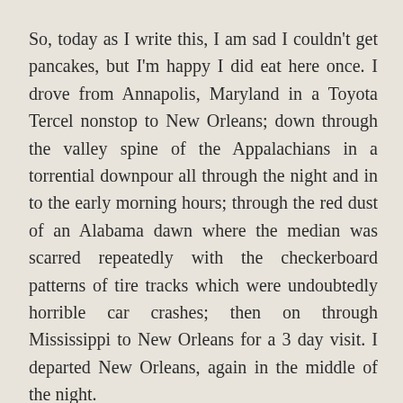So, today as I write this, I am sad I couldn't get pancakes, but I'm happy I did eat here once. I drove from Annapolis, Maryland in a Toyota Tercel nonstop to New Orleans; down through the valley spine of the Appalachians in a torrential downpour all through the night and in to the early morning hours; through the red dust of an Alabama dawn where the median was scarred repeatedly with the checkerboard patterns of tire tracks which were undoubtedly horrible car crashes; then on through Mississippi to New Orleans for a 3 day visit. I departed New Orleans, again in the middle of the night.